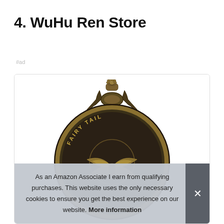4. WuHu Ren Store
#ad
[Figure (photo): Close-up photo of a Fairy Tail branded antique bronze pocket watch, showing ornate decorative crown and case top with 'FAIRY TAIL' text engraved on the bezel and a wing emblem on the case.]
As an Amazon Associate I earn from qualifying purchases. This website uses the only necessary cookies to ensure you get the best experience on our website. More information